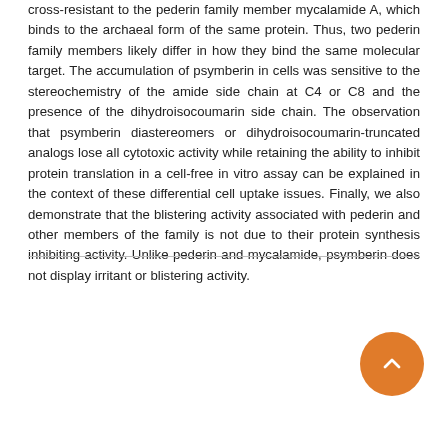cross-resistant to the pederin family member mycalamide A, which binds to the archaeal form of the same protein. Thus, two pederin family members likely differ in how they bind the same molecular target. The accumulation of psymberin in cells was sensitive to the stereochemistry of the amide side chain at C4 or C8 and the presence of the dihydroisocoumarin side chain. The observation that psymberin diastereomers or dihydroisocoumarin-truncated analogs lose all cytotoxic activity while retaining the ability to inhibit protein translation in a cell-free in vitro assay can be explained in the context of these differential cell uptake issues. Finally, we also demonstrate that the blistering activity associated with pederin and other members of the family is not due to their protein synthesis inhibiting activity. Unlike pederin and mycalamide, psymberin does not display irritant or blistering activity.
| Field | Value |
| --- | --- |
| Original language | English (US) |
| Pages (from-to) | 18998-19003 |
| Number of |  |